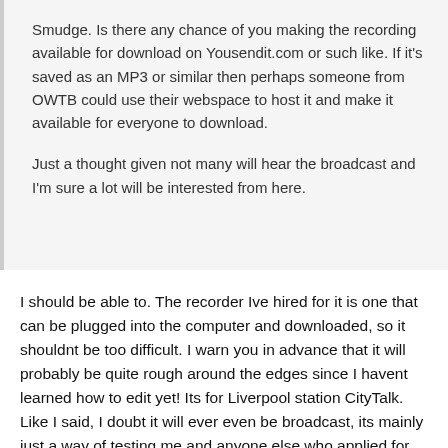Smudge. Is there any chance of you making the recording available for download on Yousendit.com or such like. If it's saved as an MP3 or similar then perhaps someone from OWTB could use their webspace to host it and make it available for everyone to download.

Just a thought given not many will hear the broadcast and I'm sure a lot will be interested from here.
I should be able to. The recorder Ive hired for it is one that can be plugged into the computer and downloaded, so it shouldnt be too difficult. I warn you in advance that it will probably be quite rough around the edges since I havent learned how to edit yet! Its for Liverpool station CityTalk. Like I said, I doubt it will ever even be broadcast, its mainly just a way of testing me and anyone else who applied for the post to see how good we are. Ill try to upload it to here whether I get the position or not though!

Thanks for all the suggestions everyone. Like I said, I have a rough knowledge of Oldham, but Ive picked up some finer details